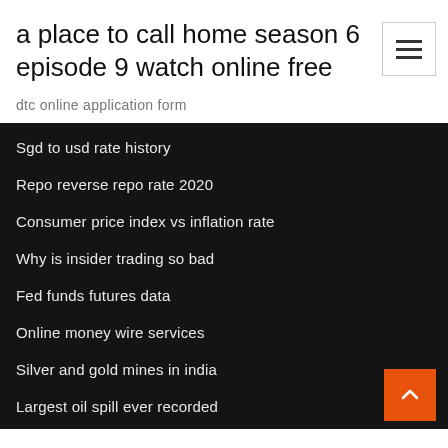a place to call home season 6 episode 9 watch online free
dtc online application form
Sgd to usd rate history
Repo reverse repo rate 2020
Consumer price index vs inflation rate
Why is insider trading so bad
Fed funds futures data
Online money wire services
Silver and gold mines in india
Largest oil spill ever recorded